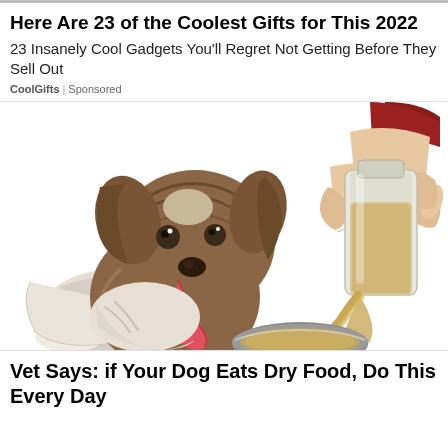Here Are 23 of the Coolest Gifts for This 2022
23 Insanely Cool Gadgets You'll Regret Not Getting Before They Sell Out
CoolGifts | Sponsored
[Figure (illustration): Illustrated image of a fluffy brown and white dog with its tongue out, being served a liquid from a glass bottle into a metal bowl by a human hand.]
Vet Says: if Your Dog Eats Dry Food, Do This Every Day